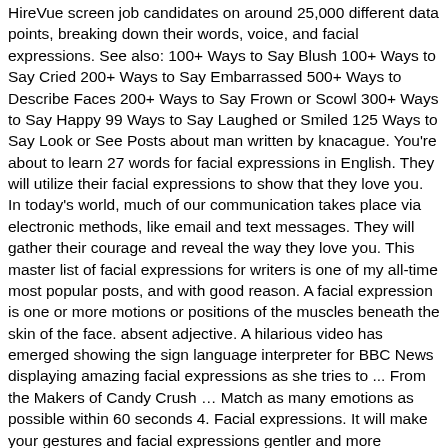HireVue screen job candidates on around 25,000 different data points, breaking down their words, voice, and facial expressions. See also: 100+ Ways to Say Blush 100+ Ways to Say Cried 200+ Ways to Say Embarrassed 500+ Ways to Describe Faces 200+ Ways to Say Frown or Scowl 300+ Ways to Say Happy 99 Ways to Say Laughed or Smiled 125 Ways to Say Look or See Posts about man written by knacague. You're about to learn 27 words for facial expressions in English. They will utilize their facial expressions to show that they love you. In today's world, much of our communication takes place via electronic methods, like email and text messages. They will gather their courage and reveal the way they love you. This master list of facial expressions for writers is one of my all-time most popular posts, and with good reason. A facial expression is one or more motions or positions of the muscles beneath the skin of the face. absent adjective. A hilarious video has emerged showing the sign language interpreter for BBC News displaying amazing facial expressions as she tries to ... From the Makers of Candy Crush … Match as many emotions as possible within 60 seconds 4. Facial expressions. It will make your gestures and facial expressions gentler and more pleasant. It is possible to hear about this from other people who might either be closer or